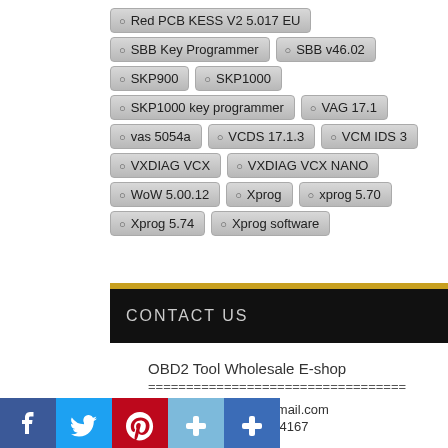Red PCB KESS V2 5.017 EU
SBB Key Programmer
SBB v46.02
SKP900
SKP1000
SKP1000 key programmer
VAG 17.1
vas 5054a
VCDS 17.1.3
VCM IDS 3
VXDIAG VCX
VXDIAG VCX NANO
WoW 5.00.12
Xprog
xprog 5.70
Xprog 5.74
Xprog software
CONTACT US
OBD2 Tool Wholesale E-shop
==================================
E-mail:autocardiag@gmail.com
Whatsapp:86-13667154167